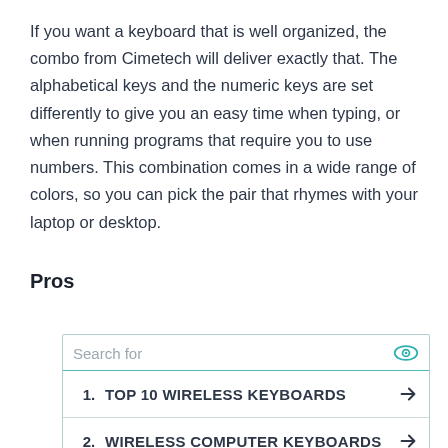If you want a keyboard that is well organized, the combo from Cimetech will deliver exactly that. The alphabetical keys and the numeric keys are set differently to give you an easy time when typing, or when running programs that require you to use numbers. This combination comes in a wide range of colors, so you can pick the pair that rhymes with your laptop or desktop.
Pros
[Figure (other): Advertisement widget with search bar and two sponsored results: 1. TOP 10 WIRELESS KEYBOARDS, 2. WIRELESS COMPUTER KEYBOARDS. Footer shows Ad | Business Focus.]